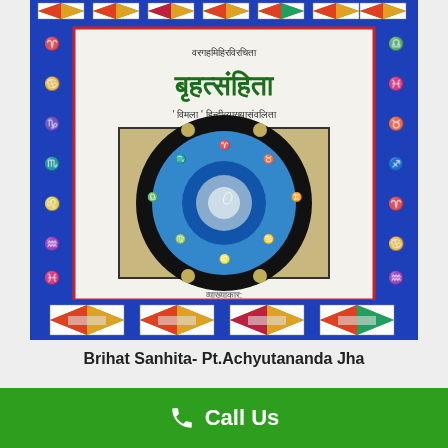[Figure (photo): Book cover of Brihat Sanhita by Pt. Achyutananda Jha, showing a blue cover with Hindi text, zodiac wheel illustration, and decorative borders with zodiac symbols. The book's title is written in large green Devanagari script.]
Brihat Sanhita- Pt.Achyutananda Jha
NOT RATED
Call Us